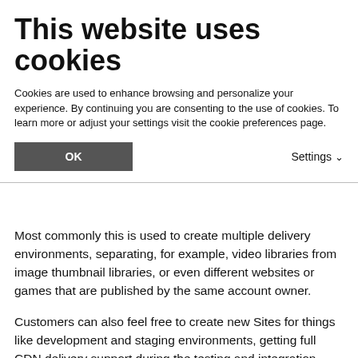This website uses cookies
Cookies are used to enhance browsing and personalize your experience. By continuing you are consenting to the use of cookies. To learn more or adjust your settings visit the cookie preferences page.
Most commonly this is used to create multiple delivery environments, separating, for example, video libraries from image thumbnail libraries, or even different websites or games that are published by the same account owner.
Customers can also feel free to create new Sites for things like development and staging environments, getting full CDN delivery support during the testing and integration processes.
Scopes